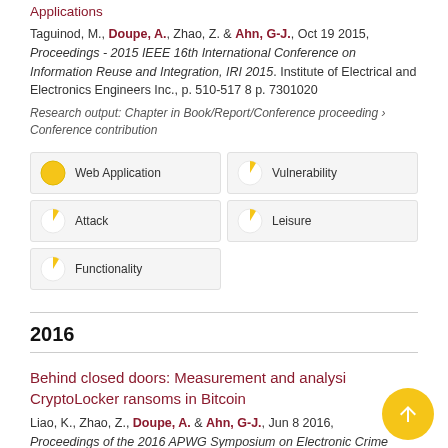Applications
Taguinod, M., Doupe, A., Zhao, Z. & Ahn, G-J., Oct 19 2015, Proceedings - 2015 IEEE 16th International Conference on Information Reuse and Integration, IRI 2015. Institute of Electrical and Electronics Engineers Inc., p. 510-517 8 p. 7301020
Research output: Chapter in Book/Report/Conference proceeding › Conference contribution
[Figure (infographic): Keyword badges: Web Application (full yellow circle), Vulnerability (partial yellow circle), Attack (partial yellow circle), Leisure (partial yellow circle), Functionality (partial yellow circle)]
2016
Behind closed doors: Measurement and analysis CryptoLocker ransoms in Bitcoin
Liao, K., Zhao, Z., Doupe, A. & Ahn, G-J., Jun 8 2016, Proceedings of the 2016 APWG Symposium on Electronic Crime